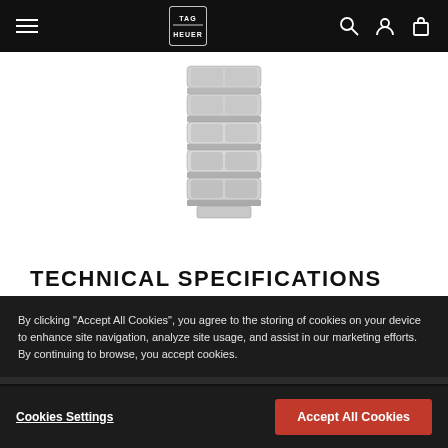TAG HEUER navigation bar
[Figure (photo): TAG Heuer watch bracelet/clasp detail, silver stainless steel, shown from bottom/clasp side]
TECHNICAL SPECIFICATIONS
CASE
By clicking "Accept All Cookies", you agree to the storing of cookies on your device to enhance site navigation, analyze site usage, and assist in our marketing efforts. By continuing to browse, you accept cookies.
TAG HEUER FORMULA 1 | Automatic Chronograph | Sr. 13,200.00
Cookies Settings | Accept All Cookies